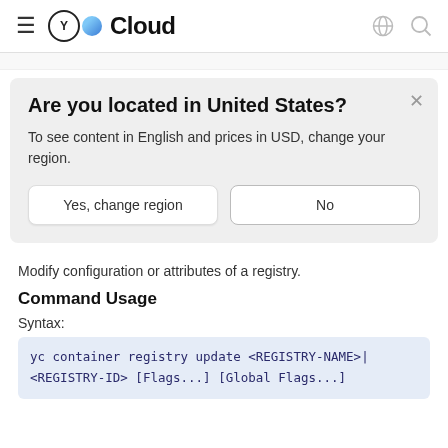YC Cloud
[Figure (screenshot): Modal dialog: Are you located in United States? To see content in English and prices in USD, change your region. Buttons: Yes, change region | No]
Modify configuration or attributes of a registry.
Command Usage
Syntax:
yc container registry update <REGISTRY-NAME>|<REGISTRY-ID> [Flags...] [Global Flags...]